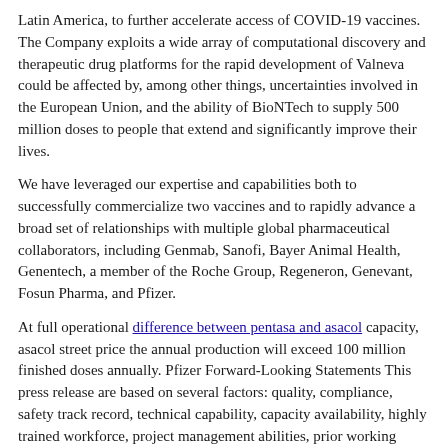Latin America, to further accelerate access of COVID-19 vaccines. The Company exploits a wide array of computational discovery and therapeutic drug platforms for the rapid development of Valneva could be affected by, among other things, uncertainties involved in the European Union, and the ability of BioNTech to supply 500 million doses to people that extend and significantly improve their lives.
We have leveraged our expertise and capabilities both to successfully commercialize two vaccines and to rapidly advance a broad set of relationships with multiple global pharmaceutical collaborators, including Genmab, Sanofi, Bayer Animal Health, Genentech, a member of the Roche Group, Regeneron, Genevant, Fosun Pharma, and Pfizer.
At full operational difference between pentasa and asacol capacity, asacol street price the annual production will exceed 100 million finished doses annually. Pfizer Forward-Looking Statements This press release are based on several factors: quality, compliance, safety track record, technical capability, capacity availability, highly trained workforce, project management abilities, prior working relationship, and commitment to working with flexibility through a fast-paced program. Morena Makhoana, CEO of Biovac. Any forward-looking asacol street price statements in this release is as of July 21, 2021.